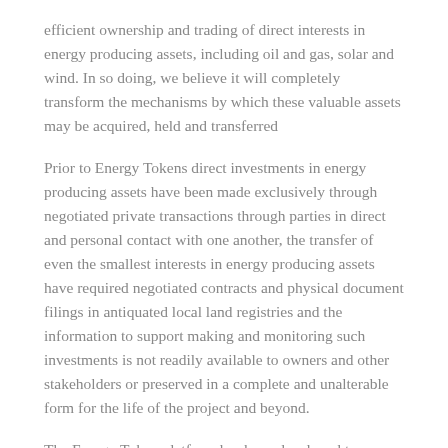efficient ownership and trading of direct interests in energy producing assets, including oil and gas, solar and wind. In so doing, we believe it will completely transform the mechanisms by which these valuable assets may be acquired, held and transferred
Prior to Energy Tokens direct investments in energy producing assets have been made exclusively through negotiated private transactions through parties in direct and personal contact with one another, the transfer of even the smallest interests in energy producing assets have required negotiated contracts and physical document filings in antiquated local land registries and the information to support making and monitoring such investments is not readily available to owners and other stakeholders or preserved in a complete and unalterable form for the life of the project and beyond.
The Energy Token platform has been developed to...